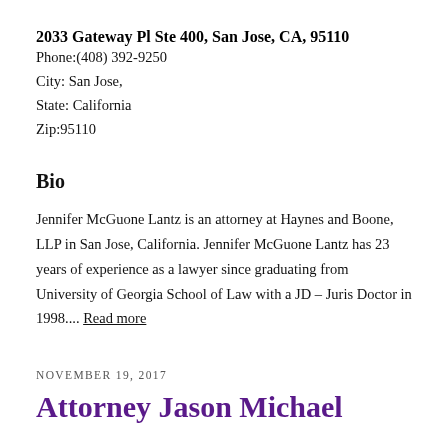2033 Gateway Pl Ste 400, San Jose, CA, 95110
Phone:(408) 392-9250
City: San Jose,
State: California
Zip:95110
Bio
Jennifer McGuone Lantz is an attorney at Haynes and Boone, LLP in San Jose, California. Jennifer McGuone Lantz has 23 years of experience as a lawyer since graduating from University of Georgia School of Law with a JD – Juris Doctor in 1998.... Read more
NOVEMBER 19, 2017
Attorney Jason Michael